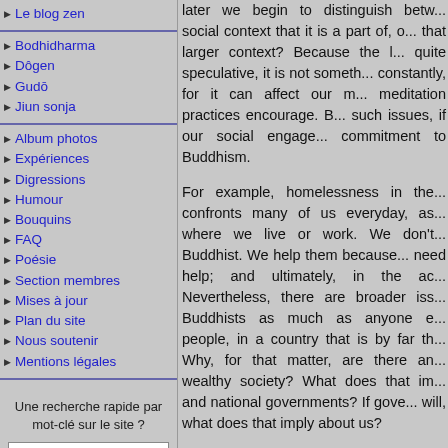Le blog zen
Bodhidharma
Dôgen
Gudō
Jiun sonja
Album photos
Expériences
Digressions
Humour
Bouquins
FAQ
Poésie
Section membres
Mises à jour
Plan du site
Nous soutenir
Mentions légales
Une recherche rapide par mot-clé sur le site ?
later we begin to distinguish between the social context that it is a part of, or from that larger context? Because the later is quite speculative, it is not something, constantly, for it can affect our m... meditation practices encourage. B... such issues, if our social engage... commitment to Buddhism.

For example, homelessness in the... confronts many of us everyday, as... where we live or work. We don't... Buddhist. We help them because... need help; and ultimately, in the ac... Nevertheless, there are broader iss... Buddhists as much as anyone e... people, in a country that is by far th... Why, for that matter, are there an... wealthy society? What does that im... and national governments? If gove... will, what does that imply about us?

To ask these questions is to delve... society we want to have and how t... often seem like a distraction from... we always ignore them, and...